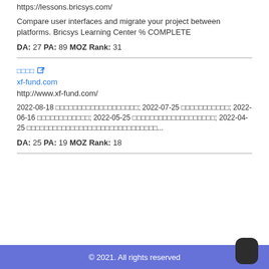https://lessons.bricsys.com/
Compare user interfaces and migrate your project between platforms. Bricsys Learning Center % COMPLETE
DA: 27 PA: 89 MOZ Rank: 31
□□□□ [external link icon]
xf-fund.com
http://www.xf-fund.com/
2022-08-18 □□□□□□□□□□□□□□□□□□□; 2022-07-25 □□□□□□□□□□□; 2022-06-16 □□□□□□□□□□□□; 2022-05-25 □□□□□□□□□□□□□□□□□□□; 2022-04-25 □□□□□□□□□□□□□□□□□□□□□□□□□□□□□□...
DA: 25 PA: 19 MOZ Rank: 18
© 2021. All rights reserved